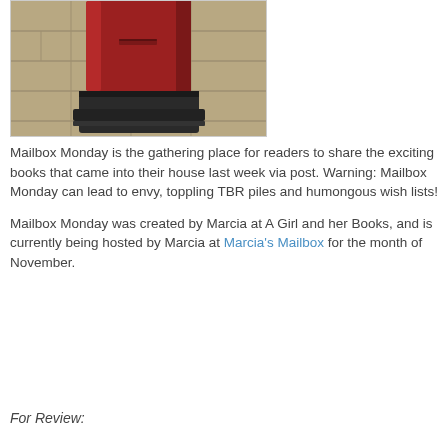[Figure (photo): A red cylindrical British post box (pillar box) with a black base, standing on stone paving slabs. Only the lower portion of the post box is visible.]
Mailbox Monday is the gathering place for readers to share the exciting books that came into their house last week via post. Warning: Mailbox Monday can lead to envy, toppling TBR piles and humongous wish lists!
Mailbox Monday was created by Marcia at A Girl and her Books, and is currently being hosted by Marcia at Marcia's Mailbox for the month of November.
For Review: